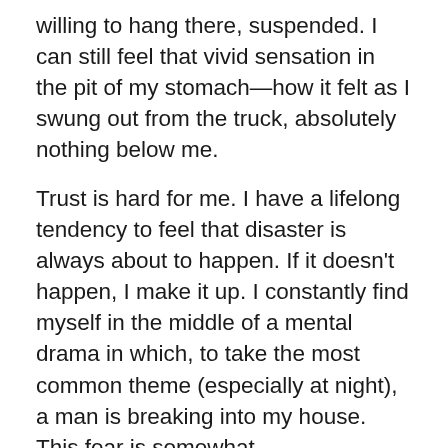willing to hang there, suspended. I can still feel that vivid sensation in the pit of my stomach—how it felt as I swung out from the truck, absolutely nothing below me.
Trust is hard for me. I have a lifelong tendency to feel that disaster is always about to happen. If it doesn't happen, I make it up. I constantly find myself in the middle of a mental drama in which, to take the most common theme (especially at night), a man is breaking into my house. This fear is somewhat understandable because I'm a woman living alone and it's been known to happen, but I am also capable of worrying that an airplane is going to crash into my roof. It doesn't really matter what the imagery is, there's just a sense of always expecting to hear the bad news on the phone, the sound of breaking glass, it's a feeling of what next? I hear a strange noise and my adrenaline starts pumping. I'm sure there are